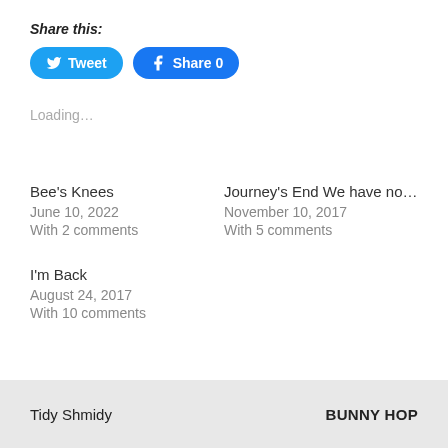Share this:
[Figure (screenshot): Two social sharing buttons: a blue Twitter Tweet button and a blue Facebook Share 0 button]
Loading…
Bee's Knees
June 10, 2022
With 2 comments
Journey's End We have no…
November 10, 2017
With 5 comments
I'm Back
August 24, 2017
With 10 comments
Tidy Shmidy    BUNNY HOP